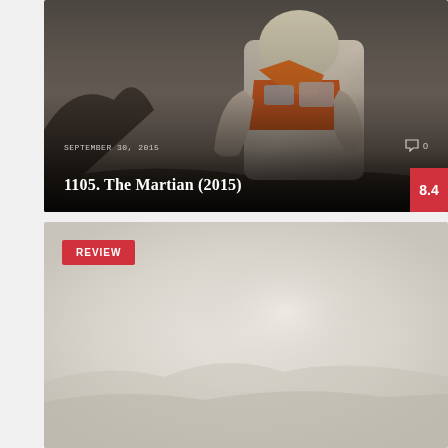[Figure (photo): The Martian 2015 movie promotional image showing an astronaut in an orange and white spacesuit on a rocky Mars landscape with dark sky]
SEPTEMBER 30, 2015
0
1105. The Martian (2015)
8.4
[Figure (photo): Misty light-colored Mars landscape scene used as background for a review card]
REVIEW